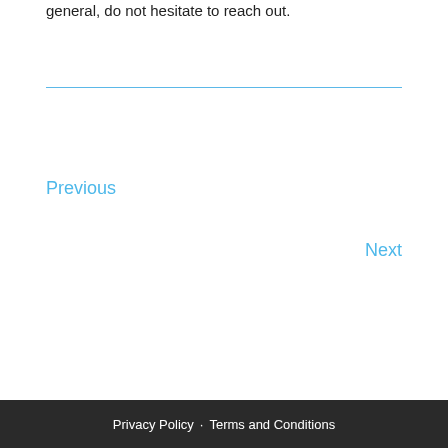general, do not hesitate to reach out.
Previous
Next
Privacy Policy · Terms and Conditions